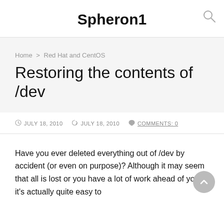Spheron1
Home > Red Hat and CentOS
Restoring the contents of /dev
JULY 18, 2010  JULY 18, 2010  COMMENTS: 0
Have you ever deleted everything out of /dev by accident (or even on purpose)? Although it may seem that all is lost or you have a lot of work ahead of you, it's actually quite easy to